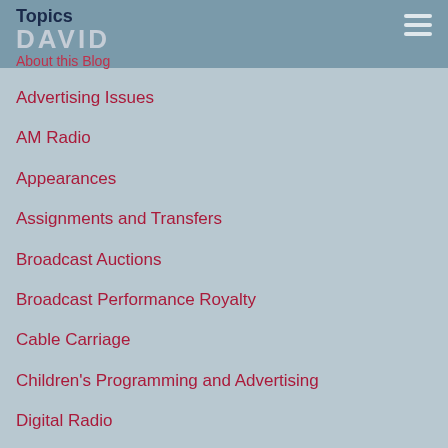Topics
DAVID
About this Blog
Advertising Issues
AM Radio
Appearances
Assignments and Transfers
Broadcast Auctions
Broadcast Performance Royalty
Cable Carriage
Children's Programming and Advertising
Digital Radio
Digital Television